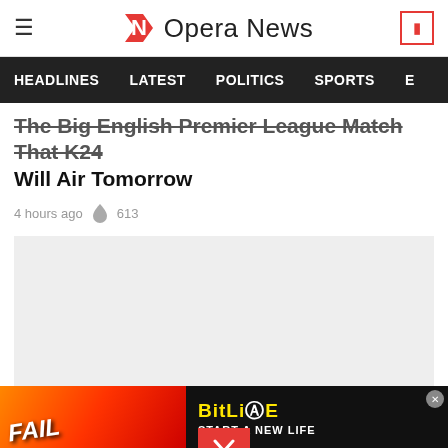Opera News
The Big English Premier League Match That K24 Will Air Tomorrow
4 hours ago  613
[Figure (other): Grey placeholder image area with red scroll-down button]
[Figure (other): BitLife advertisement banner: FAIL text on fire background, START A NEW LIFE on black background]